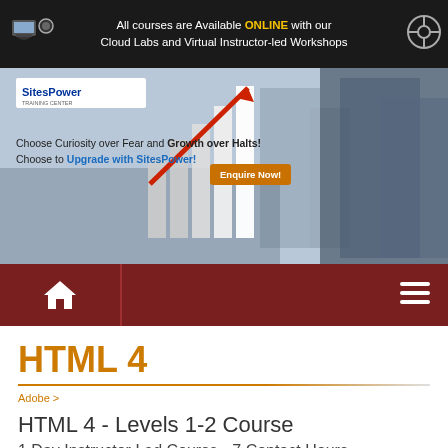[Figure (screenshot): Top dark banner with text: All courses are Available ONLINE with our Cloud Labs and Virtual Instructor-led Workshops, with icons on left and right sides]
[Figure (screenshot): Hero banner with SitesPower logo, tagline 'Choose Curiosity over Fear and Growth over Halts! Choose to Upgrade with SitesPower!', orange Enquire Now button, bar chart graphic with red arrow, businessmen in background]
[Figure (screenshot): Dark red navigation bar with white home icon on left and hamburger menu icon on right]
HTML 4
Adobe >
HTML 4 - Levels 1-2 Course
1 Day Instructor Led Course - 7 Contact Hours